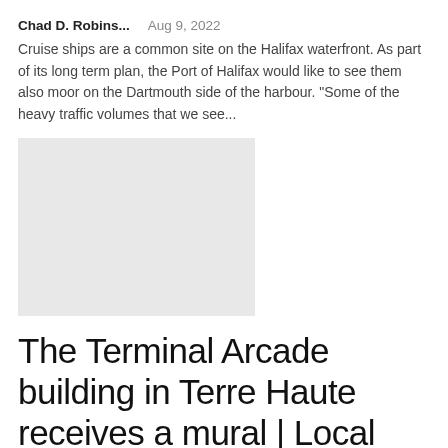Chad D. Robins...    Aug 9, 2022
Cruise ships are a common site on the Halifax waterfront. As part of its long term plan, the Port of Halifax would like to see them also moor on the Dartmouth side of the harbour. "Some of the heavy traffic volumes that we see...
[Figure (photo): Light gray placeholder image rectangle]
The Terminal Arcade building in Terre Haute receives a mural | Local News
Chad D. Robins...    Aug 8, 2022